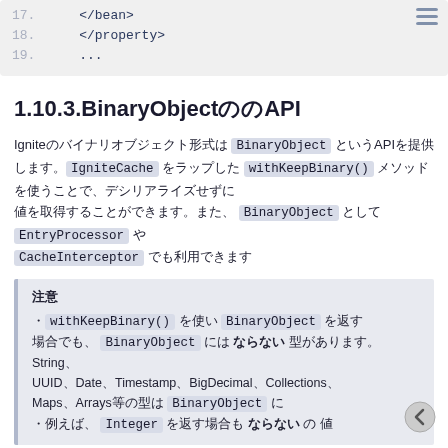[Figure (screenshot): Code block showing XML lines 17-19 with </bean>, </property>, and ... with a menu icon in the top right]
1.10.3.BinaryObjectのAPI
Igniteのバイナリオブジェクト形式は BinaryObject というAPIを提供します。IgniteCache をラップした withKeepBinary() メソッドを使うことで、デシリアライズせずに BinaryObject として扱うことができます。EntryProcessor や CacheInterceptor でも利用できます。
注意
・withKeepBinary() を使い BinaryObject を返す場合でも、BinaryObject には ならない 型があります。String、UUID、Date、Timestamp、BigDecimal、Collections、Maps、Arrays等の型は BinaryObject にはなりません。
・例えば Integer を返す場合も BinaryObject には なり ません